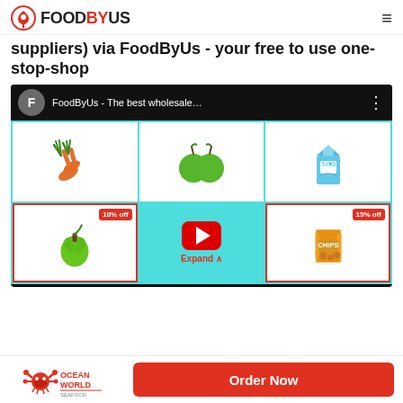FoodByUs
suppliers) via FoodByUs - your free to use one-stop-shop
[Figure (screenshot): YouTube video thumbnail showing FoodByUs - The best wholesale... with food product illustrations including carrots, green apples, milk carton, green pepper (10% off), YouTube play button with Expand label, and chips bag (15% off)]
[Figure (logo): Ocean World Seafood logo]
Order Now